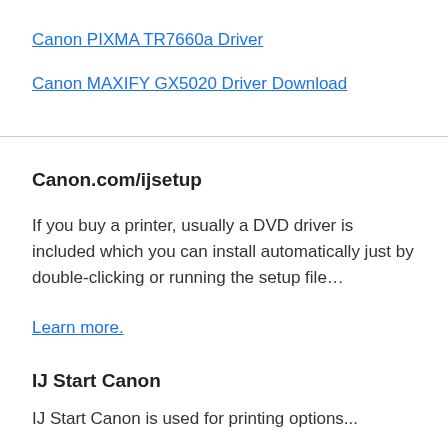Canon PIXMA TR7660a Driver
Canon MAXIFY GX5020 Driver Download
Canon.com/ijsetup
If you buy a printer, usually a DVD driver is included which you can install automatically just by double-clicking or running the setup file…
Learn more.
IJ Start Canon
IJ Start Canon is used for printing options...